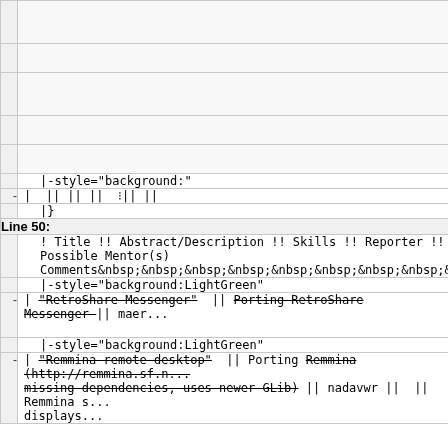|  | (empty row) |
|  | (empty row) |
|  | (empty row) |
|  | (empty row) |
|  | (empty row) |
|  | |-style="background:" |
| - | | || || || |+|| || |
|  | |} |
| Line 50: |  |
|  | ! Title !! Abstract/Description !! Skills !! Reporter !! Possible Mentor(s) Comments&nbsp;&nbsp;&nbsp;&nbsp;&nbsp;&nbsp;&nbsp;&nbsp;& |
|  | |-style="background:LightGreen" |
| - | | "RetroShare Messenger" || Porting RetroShare Messenger || maer... |
|  | |-style="background:LightGreen" |
| - | | "Remmina remote desktop" || Porting Remmina (http://remmina.sf.n... missing dependencies, uses newer GLib) || nadavwr || || Remmina s... displays... |